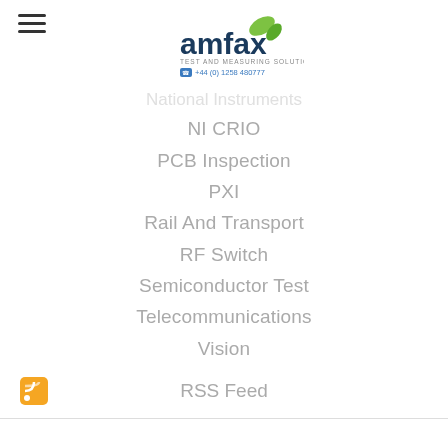[Figure (logo): Amfax logo with green leaf motif and tagline 'TEST AND MEASURING SOLUTIONS', phone +44 (0) 1258 480777]
NI CRIO
PCB Inspection
PXI
Rail And Transport
RF Switch
Semiconductor Test
Telecommunications
Vision
RSS Feed
[Figure (logo): National Instruments logo partially visible at bottom right]